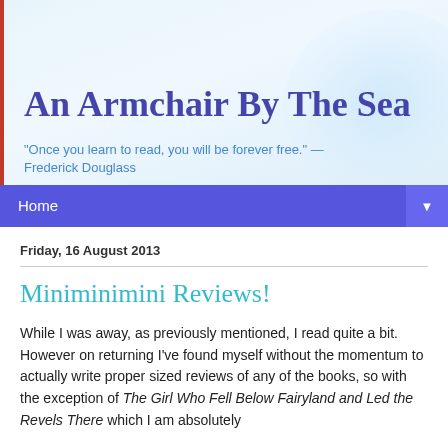An Armchair By The Sea
"Once you learn to read, you will be forever free." — Frederick Douglass
Home ▼
Friday, 16 August 2013
Miniminimini Reviews!
While I was away, as previously mentioned, I read quite a bit. However on returning I've found myself without the momentum to actually write proper sized reviews of any of the books, so with the exception of The Girl Who Fell Below Fairyland and Led the Revels There which I am absolutely